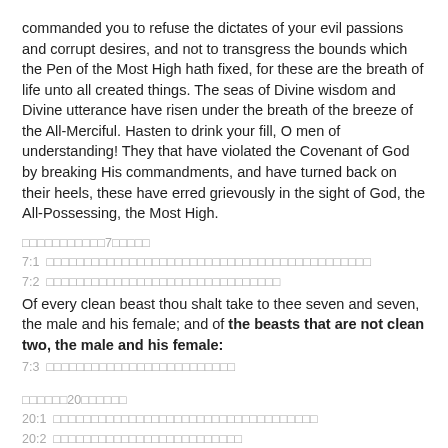commanded you to refuse the dictates of your evil passions and corrupt desires, and not to transgress the bounds which the Pen of the Most High hath fixed, for these are the breath of life unto all created things. The seas of Divine wisdom and Divine utterance have risen under the breath of the breeze of the All-Merciful. Hasten to drink your fill, O men of understanding! They that have violated the Covenant of God by breaking His commandments, and have turned back on their heels, these have erred grievously in the sight of God, the All-Possessing, the Most High.
□□□□□□□□□□□7□□□□□
7:1 □□□□□□□□□□□□□□□□□□□□□□□□□□□□□□□□□□□□□□□□□
7:2 □□□□□□□□□□□□□□□□□□□□□□□□□□□□□
Of every clean beast thou shalt take to thee seven and seven, the male and his female; and of the beasts that are not clean two, the male and his female:
7:3 □□□□□□□□□□□□□□□□□□□□□□□
□□□□□□20□□□□□□
20:1 □□□□□□□□□□□□□□□□□□□□□□□□□□□□□□□□□□
20:2 □□□□□□□□□□□□□□□□□□□□□□□□□